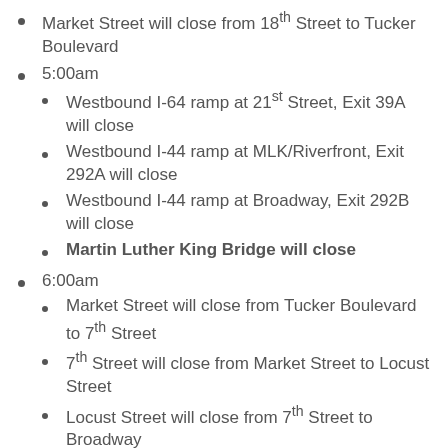Market Street will close from 18th Street to Tucker Boulevard
5:00am
Westbound I-64 ramp at 21st Street, Exit 39A will close
Westbound I-44 ramp at MLK/Riverfront, Exit 292A will close
Westbound I-44 ramp at Broadway, Exit 292B will close
Martin Luther King Bridge will close
6:00am
Market Street will close from Tucker Boulevard to 7th Street
7th Street will close from Market Street to Locust Street
Locust Street will close from 7th Street to Broadway
Broadway will close from Pine Street to Washington Avenue
Washington Avenue will close from Broadway to Eads Bridge